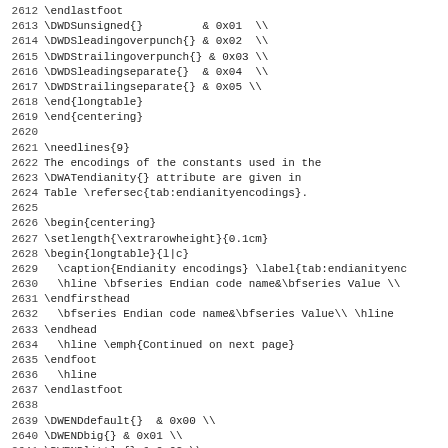2611 \endlastfoot (partial line at top)
2612 \endlastfoot
2613 \DWDSunsigned{}         & 0x01  \\
2614 \DWDSleadingoverpunch{} & 0x02  \\
2615 \DWDStrailingoverpunch{} & 0x03 \\
2616 \DWDSleadingseparate{}  & 0x04  \\
2617 \DWDStrailingseparate{} & 0x05 \\
2618 \end{longtable}
2619 \end{centering}
2620 
2621 \needlines{9}
2622 The encodings of the constants used in the
2623 \DWATendianity{} attribute are given in
2624 Table \refersec{tab:endianityencodings}.
2625 
2626 \begin{centering}
2627 \setlength{\extrarowheight}{0.1cm}
2628 \begin{longtable}{l|c}
2629   \caption{Endianity encodings} \label{tab:endianityenc
2630   \hline \bfseries Endian code name&\bfseries Value \\
2631 \endfirsthead
2632   \bfseries Endian code name&\bfseries Value\\ \hline
2633 \endhead
2634   \hline \emph{Continued on next page}
2635 \endfoot
2636   \hline
2637 \endlastfoot
2638 
2639 \DWENDdefault{}  & 0x00 \\
2640 \DWENDbig{}  & 0x01 \\
2641 \DWENDlittle{} & 0x02 \\
2642 \DWENDlouser{} & 0x40 \\
2643 \DWENDhiuser{} & \xff \\